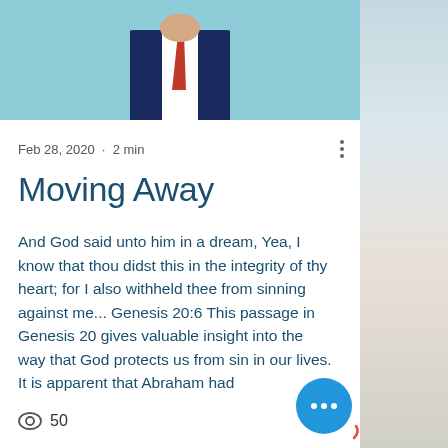[Figure (photo): Top portion of a person in a dark navy suit with a red tie, photographed against a light blue background. Only the torso and lower face area visible.]
Feb 28, 2020 · 2 min
Moving Away
And God said unto him in a dream, Yea, I know that thou didst this in the integrity of thy heart; for I also withheld thee from sinning against me... Genesis 20:6 This passage in Genesis 20 gives valuable insight into the way that God protects us from sin in our lives. It is apparent that Abraham had
50